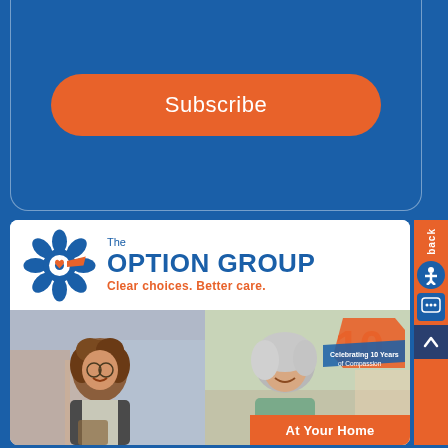Subscribe
[Figure (logo): The Option Group logo with flower/gear icon in blue and orange, tagline: Clear choices. Better care.]
[Figure (photo): Two photos side by side: left shows a young woman with curly hair smiling, right shows an older woman with gray hair smiling with a 10-year anniversary badge overlay]
At Your Home